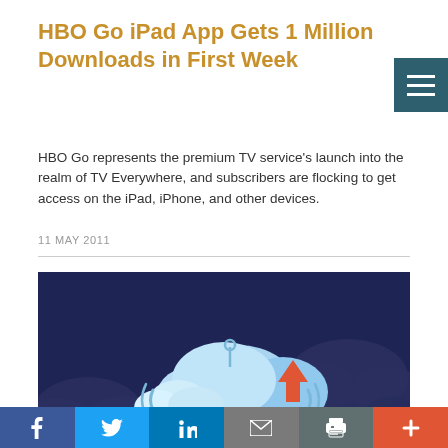HBO Go iPad App Gets 1 Million Downloads in First Week
HBO Go represents the premium TV service's launch into the realm of TV Everywhere, and subscribers are flocking to get access on the iPad, iPhone, and other devices.
11 MAY 2011
[Figure (illustration): Illustration of cloud computing with light blue stylized clouds on a dark navy background, with an orange upward arrow, circuit pin symbol, and cloud upload iconography. Dark cloud shapes in background corners.]
[Figure (infographic): Social sharing bar with Facebook (blue), Twitter (light blue), LinkedIn (blue), Email (gray), Print (teal-gray), and Plus/More (orange-red) buttons.]